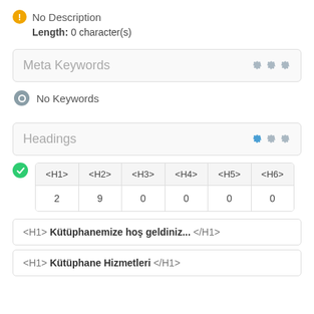No Description
Length: 0 character(s)
Meta Keywords
No Keywords
Headings
| <H1> | <H2> | <H3> | <H4> | <H5> | <H6> |
| --- | --- | --- | --- | --- | --- |
| 2 | 9 | 0 | 0 | 0 | 0 |
<H1> Kütüphanemize hoş geldiniz... </H1>
<H1> Kütüphane Hizmetleri </H1>